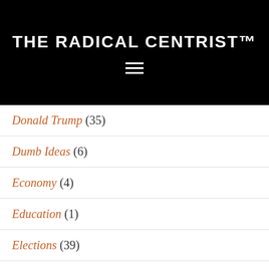THE RADICAL CENTRIST™
Donald Trump (35)
Dumb Ideas (6)
Economy (4)
Education (1)
Elections (39)
Ethics/Morality (27)
Gender Issues (5)
General (14)